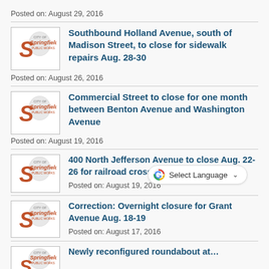Posted on: August 29, 2016
[Figure (logo): City of Springfield Public Works logo]
Southbound Holland Avenue, south of Madison Street, to close for sidewalk repairs Aug. 28-30
Posted on: August 26, 2016
[Figure (screenshot): Google Translate Select Language widget]
[Figure (logo): City of Springfield Public Works logo]
Commercial Street to close for one month between Benton Avenue and Washington Avenue
Posted on: August 19, 2016
[Figure (logo): City of Springfield Public Works logo]
400 North Jefferson Avenue to close Aug. 22-26 for railroad crossing work
Posted on: August 19, 2016
[Figure (logo): City of Springfield Public Works logo]
Correction: Overnight closure for Grant Avenue Aug. 18-19
Posted on: August 17, 2016
[Figure (logo): City of Springfield Public Works logo]
Newly reconfigured roundabout at…